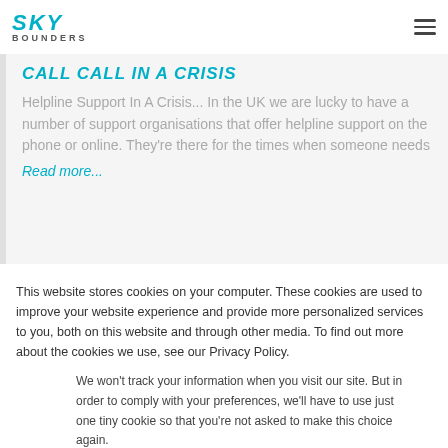SKY BOUNDERS
CALL CALL IN A CRISIS
Helpline Support In A Crisis... In the UK we are lucky to have a number of support organisations that offer helpline support on the phone or online. They're there for the times when someone needs
Read more...
This website stores cookies on your computer. These cookies are used to improve your website experience and provide more personalized services to you, both on this website and through other media. To find out more about the cookies we use, see our Privacy Policy.
We won't track your information when you visit our site. But in order to comply with your preferences, we'll have to use just one tiny cookie so that you're not asked to make this choice again.
Accept
Decline